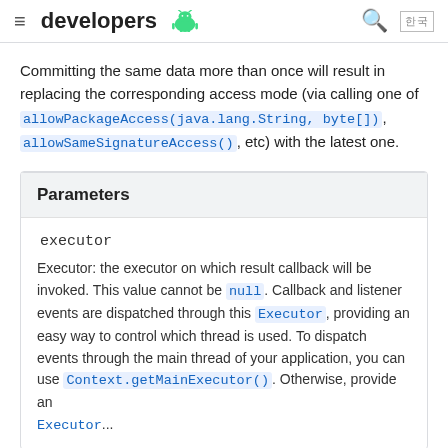≡ developers 🤖 🔍 한국
Committing the same data more than once will result in replacing the corresponding access mode (via calling one of allowPackageAccess(java.lang.String, byte[]), allowSameSignatureAccess(), etc) with the latest one.
| Parameters |
| --- |
| executor | Executor: the executor on which result callback will be invoked. This value cannot be null. Callback and listener events are dispatched through this Executor, providing an easy way to control which thread is used. To dispatch events through the main thread of your application, you can use Context.getMainExecutor(). Otherwise, provide an Executor... |
Executor: the executor on which result callback will be invoked. This value cannot be null. Callback and listener events are dispatched through this Executor, providing an easy way to control which thread is used. To dispatch events through the main thread of your application, you can use Context.getMainExecutor(). Otherwise, provide an